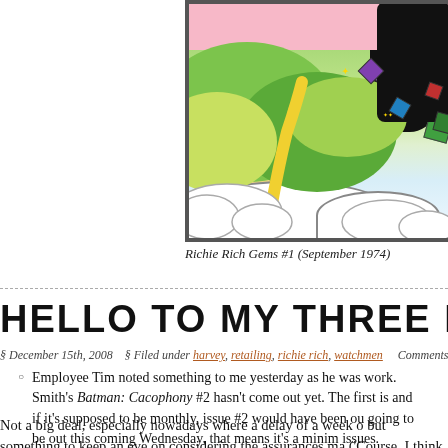[Figure (illustration): Partial comic book cover showing colorful landscape with green fields, yellow path, white clouds, gemstones floating in air, and a black silhouette figure. Pink sky at top.]
Richie Rich Gems #1 (September 1974)
HELLO TO MY THREE REMAINING
§ December 15th, 2008   § Filed under harvey, retailing, richie rich, watchmen   Comments Off
Employee Tim noted something to me yesterday as he was work. Smith's Batman: Cacophony #2 hasn't come out yet. The first is and if it's supposed to be monthly, issue #2 would have been ou going to be out this coming Wednesday, that means it's a minim issues.
Not a big deal, especially nowadays where a delay of a week o but something to keep an eye on considering the assurances ma ('Course, I think the assurances made have been more along the